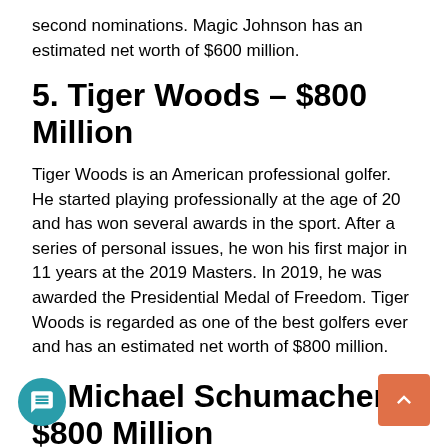second nominations. Magic Johnson has an estimated net worth of $600 million.
5. Tiger Woods – $800 Million
Tiger Woods is an American professional golfer. He started playing professionally at the age of 20 and has won several awards in the sport. After a series of personal issues, he won his first major in 11 years at the 2019 Masters. In 2019, he was awarded the Presidential Medal of Freedom. Tiger Woods is regarded as one of the best golfers ever and has an estimated net worth of $800 million.
4. Michael Schumacher – $800 Million
Michael Schumacher is a German retired racecar driver. He d in Formula One for Jordan Grand Prix, Benetton an Ferrari and also for Mercedes. He is regarded as one of